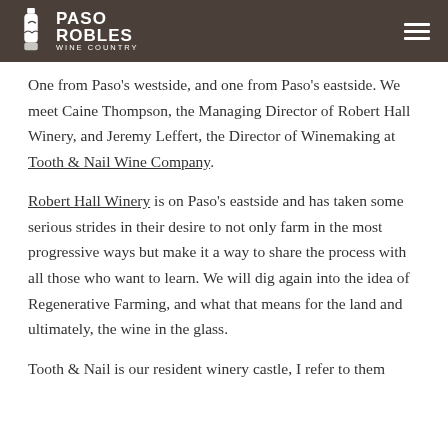PASO ROBLES WINE COUNTRY
One from Paso's westside, and one from Paso's eastside. We meet Caine Thompson, the Managing Director of Robert Hall Winery, and Jeremy Leffert, the Director of Winemaking at Tooth & Nail Wine Company.
Robert Hall Winery is on Paso's eastside and has taken some serious strides in their desire to not only farm in the most progressive ways but make it a way to share the process with all those who want to learn. We will dig again into the idea of Regenerative Farming, and what that means for the land and ultimately, the wine in the glass.
Tooth & Nail is our resident winery castle, I refer to them